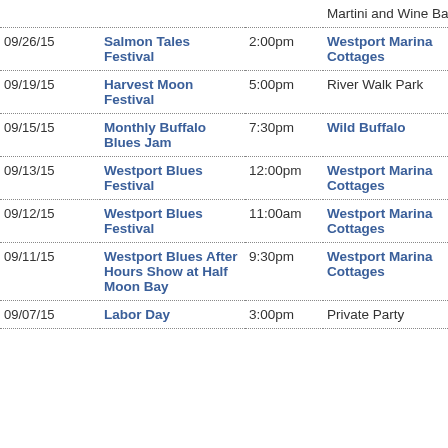| Date | Event | Time | Venue | Location |
| --- | --- | --- | --- | --- |
|  | Martini and Wine Bar |  |  | Wa |
| 09/26/15 | Salmon Tales Festival | 2:00pm | Westport Marina Cottages | Westport , Wa |
| 09/19/15 | Harvest Moon Festival | 5:00pm | River Walk Park | Mt. Vernon , Wa |
| 09/15/15 | Monthly Buffalo Blues Jam | 7:30pm | Wild Buffalo | Bellingham, WA |
| 09/13/15 | Westport Blues Festival | 12:00pm | Westport Marina Cottages | Westport , Wa |
| 09/12/15 | Westport Blues Festival | 11:00am | Westport Marina Cottages | Westport , Wa |
| 09/11/15 | Westport Blues After Hours Show at Half Moon Bay | 9:30pm | Westport Marina Cottages | Westport , Wa |
| 09/07/15 | Labor Day | 3:00pm | Private Party | Downtown, |